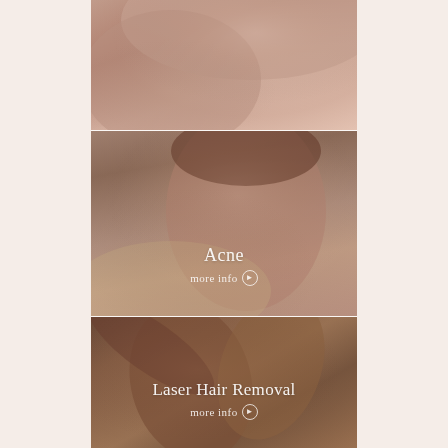[Figure (photo): Close-up photo of a woman's bare shoulder and neck/collarbone area against a neutral background]
[Figure (photo): Photo of a woman touching her face/chin, looking at camera, representing acne treatment service]
Acne
more info ❯
[Figure (photo): Photo of dark-skinned legs/arms crossed, representing laser hair removal service]
Laser Hair Removal
more info ❯